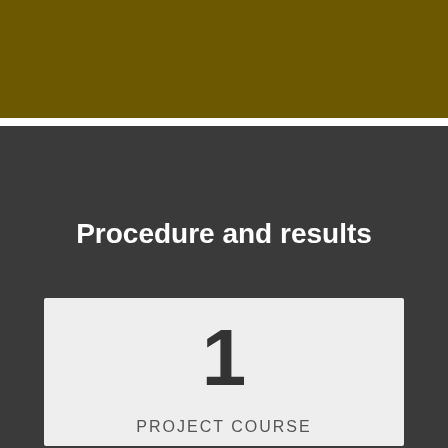[Figure (other): Gold/dark olive colored header bar spanning the full width of the page]
Procedure and results
1
PROJECT COURSE